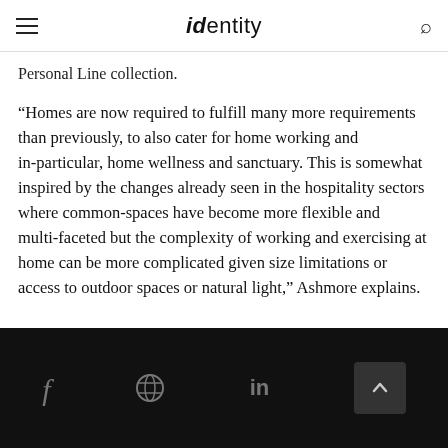identity
Personal Line collection.
“Homes are now required to fulfill many more requirements than previously, to also cater for home working and in-particular, home wellness and sanctuary. This is somewhat inspired by the changes already seen in the hospitality sectors where common-spaces have become more flexible and multi-faceted but the complexity of working and exercising at home can be more complicated given size limitations or access to outdoor spaces or natural light,” Ashmore explains.
Social icons: Facebook, Pinterest, LinkedIn, scroll-to-top